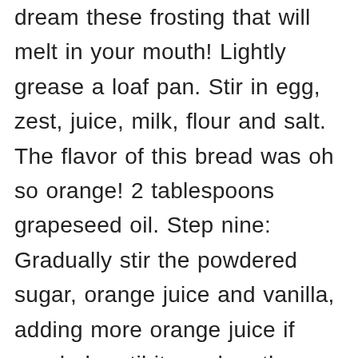dream these frosting that will melt in your mouth! Lightly grease a loaf pan. Stir in egg, zest, juice, milk, flour and salt. The flavor of this bread was oh so orange! 2 tablespoons grapeseed oil. Step nine: Gradually stir the powdered sugar, orange juice and vanilla, adding more orange juice if needed, until it reaches the right consistency for a glaze. Sprinkle orange zest on top before the icing sets, optional. I added about 6-8oz of orange marmalade in a sauce pan first, then added the orange juice and sugar. Method for Date and Orange Loaf: Pre-heat the oven to Gas Mark 4 (35OF/18OC) Grease a loaf tin 8 ½" x 4" (2 ½ pints) Put dates and water into a